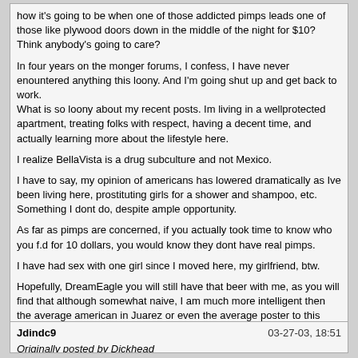how it's going to be when one of those addicted pimps leads one of those like plywood doors down in the middle of the night for $10? Think anybody's going to care?

In four years on the monger forums, I confess, I have never enountered anything this loony. And I'm going shut up and get back to work.
What is so loony about my recent posts. Im living in a wellprotected apartment, treating folks with respect, having a decent time, and actually learning more about the lifestyle here.

I realize BellaVista is a drug subculture and not Mexico.

I have to say, my opinion of americans has lowered dramatically as Ive been living here, prostituting girls for a shower and shampoo, etc. Something I dont do, despite ample opportunity.

As far as pimps are concerned, if you actually took time to know who you f.d for 10 dollars, you would know they dont have real pimps.

I have had sex with one girl since I moved here, my girlfriend, btw.

Hopefully, DreamEagle you will still have that beer with me, as you will find that although somewhat naive, I am much more intelligent then the average american in Juarez or even the average poster to this dumb forum.

Wow, flamed on the World sex guide for living in a prostitution zone.....cant make stuff this crazy up.
Jdindc9
03-27-03, 18:51
Originally posted by Dickhead
But if JD doesn't do drugs and is just with a girl who is doing drugs, he can't get in any trouble for that, can he? And if he does they will give him bail and a lawyer, won't they? And he's innocent until proven guilty, right? Plus if he does end up in jail they'll give him clean sheets and a toothbrush and hot showers and three meals a day like in the US jails, won't they? Plus won't the other inmates respect him and protect him because he's American and an IT